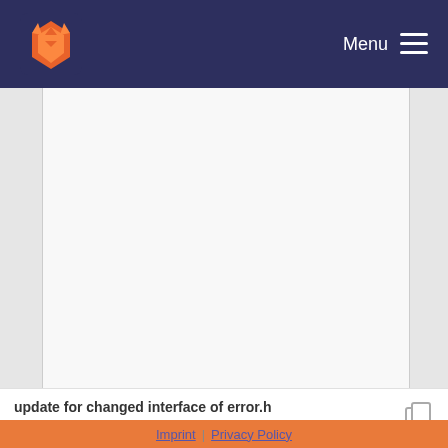Menu
[Figure (screenshot): Large empty grey content area representing a GitLab repository file view with left and right gutters]
update for changed interface of error.h
Uwe Schulzweida committed 11 years ago
Imprint | Privacy Policy